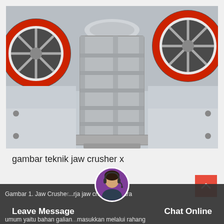[Figure (photo): Jaw crusher machine shown from the front, with a grey metal frame/body featuring a grid-like ribbed structure in the center, and two large red and grey fly wheels visible on the left and right sides. The machine sits on a light grey industrial floor.]
gambar teknik jaw crusher x
Gambar 1. Jaw Crusher...rja jaw crusher secara umum yaitu bahan galian...masukkan melalui rahang